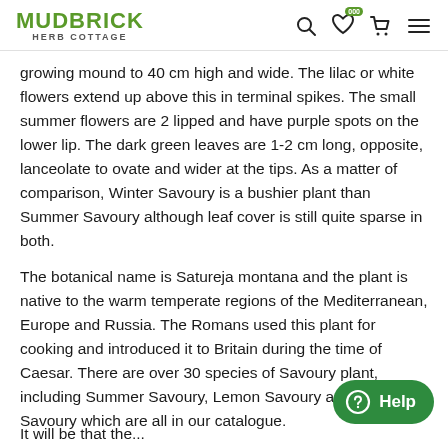MUDBRICK HERB COTTAGE
growing mound to 40 cm high and wide. The lilac or white flowers extend up above this in terminal spikes. The small summer flowers are 2 lipped and have purple spots on the lower lip. The dark green leaves are 1-2 cm long, opposite, lanceolate to ovate and wider at the tips. As a matter of comparison, Winter Savoury is a bushier plant than Summer Savoury although leaf cover is still quite sparse in both.
The botanical name is Satureja montana and the plant is native to the warm temperate regions of the Mediterranean, Europe and Russia. The Romans used this plant for cooking and introduced it to Britain during the time of Caesar. There are over 30 species of Savoury plant, including Summer Savoury, Lemon Savoury and Pink Savoury which are all in our catalogue.
It will be that the...